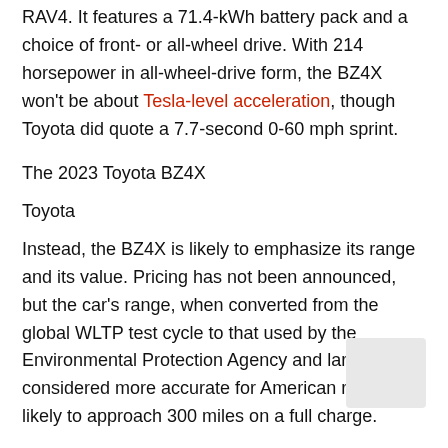RAV4. It features a 71.4-kWh battery pack and a choice of front- or all-wheel drive. With 214 horsepower in all-wheel-drive form, the BZ4X won't be about Tesla-level acceleration, though Toyota did quote a 7.7-second 0-60 mph sprint.
The 2023 Toyota BZ4X
Toyota
Instead, the BZ4X is likely to emphasize its range and its value. Pricing has not been announced, but the car's range, when converted from the global WLTP test cycle to that used by the Environmental Protection Agency and largely considered more accurate for American roads, is likely to approach 300 miles on a full charge.
On a Level 3 charger, Toyota says to expect an 80% top-off in just 30 minutes.